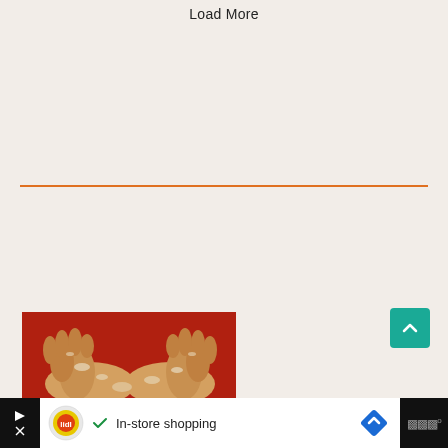Load More
[Figure (photo): Hands covered in dough/flour, person wearing red top, kneading dough]
[Figure (screenshot): Advertisement bar at bottom: Lidl ad with text 'In-store shopping', play/close controls on left, navigation arrow icon on right, mute button on far right]